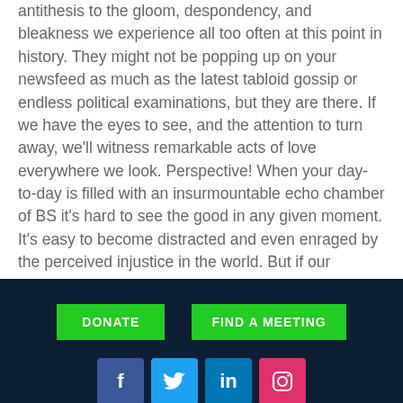antithesis to the gloom, despondency, and bleakness we experience all too often at this point in history. They might not be popping up on your newsfeed as much as the latest tabloid gossip or endless political examinations, but they are there. If we have the eyes to see, and the attention to turn away, we'll witness remarkable acts of love everywhere we look. Perspective! When your day-to-day is filled with an insurmountable echo chamber of BS it's hard to see the good in any given moment. It's easy to become distracted and even enraged by the perceived injustice in the world. But if our thought-life is so easily distracted toward fruitless anger, who will be there to make a difference? Who will be there to lift
[Figure (other): Dark navy footer bar with two green buttons labeled DONATE and FIND A MEETING, and four social media icons: Facebook (blue), Twitter (light blue), LinkedIn (blue), Instagram (pink/red).]